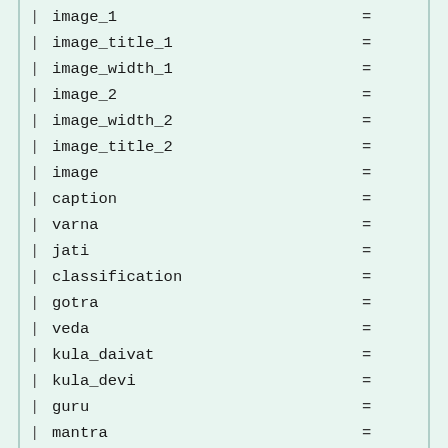| image_1          =
| image_title_1    =
| image_width_1    =
| image_2          =
| image_width_2    =
| image_title_2    =
| image            =
| caption          =
| varna            =
| jati             =
| classification   =
| gotra            =
| veda             =
| kula_daivat      =
| kula_devi        =
| guru             =
| mantra           =